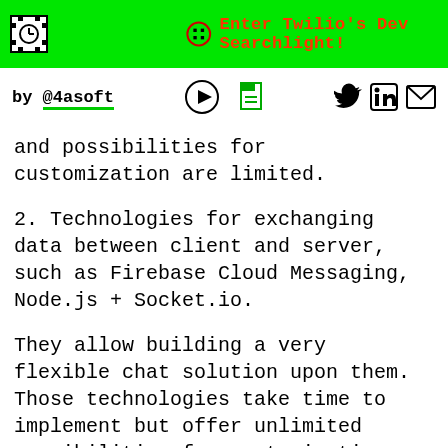Enter Twilio's Dev Searchlight!
by @4asoft
and possibilities for customization are limited.
2. Technologies for exchanging data between client and server, such as Firebase Cloud Messaging, Node.js + Socket.io.
They allow building a very flexible chat solution upon them. Those technologies take time to implement but offer unlimited possibilities for customization.
All the four solutions are cross-platform, they work on the web, iOS, Android.